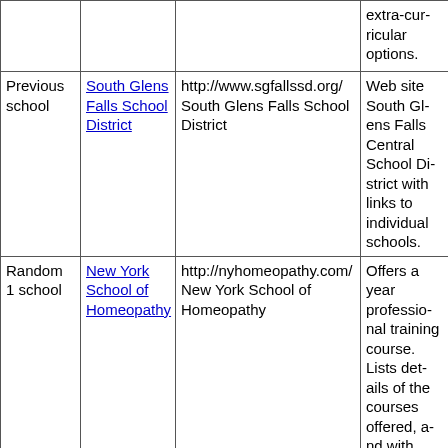| Type | School Name | URL / Name | Description |
| --- | --- | --- | --- |
|  |  |  | extra-curricular options. |
| Previous school | South Glens Falls School District | http://www.sgfallssd.org/ South Glens Falls School District | Web site South Glens Falls Central School District with links to individual schools. |
| Random 1 school | New York School of Homeopathy | http://nyhomeopathy.com/ New York School of Homeopathy | Offers a 4 year professional training course. Lists details of the courses offered, along with new provings based in New York, New York. |
|  |  |  | Serves students in grades ... Includes mission ... |